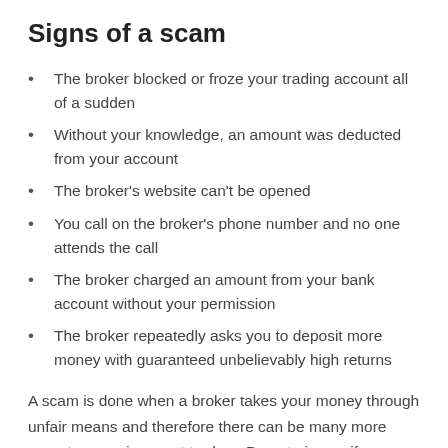Signs of a scam
The broker blocked or froze your trading account all of a sudden
Without your knowledge, an amount was deducted from your account
The broker's website can't be opened
You call on the broker's phone number and no one attends the call
The broker charged an amount from your bank account without your permission
The broker repeatedly asks you to deposit more money with guaranteed unbelievably high returns
A scam is done when a broker takes your money through unfair means and therefore there can be many more ways to scam innocent traders. Do not give up if you were scammed by Tradebase24. We will help you to get your lost amount refunded. Please fill the form after you click 'File a complaint' button above and our experts will contact you and help you to start the process of your